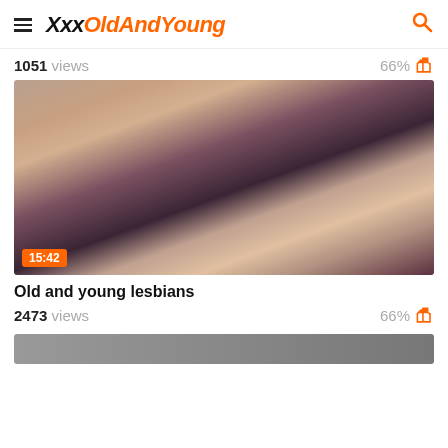XxxOldAndYoung
1051 views   66%
[Figure (photo): Video thumbnail showing adult content, duration badge 15:42]
Old and young lesbians
2473 views   66%
[Figure (photo): Partially visible next video thumbnail at bottom]